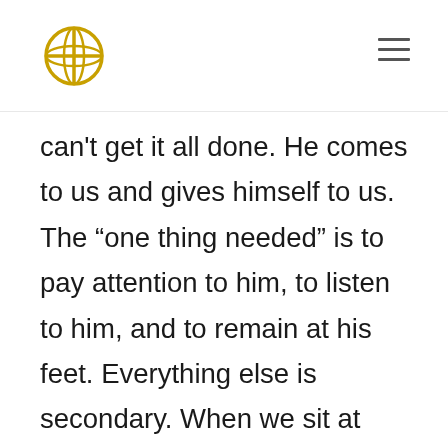[Church logo and navigation menu]
can't get it all done. He comes to us and gives himself to us. The “one thing needed” is to pay attention to him, to listen to him, and to remain at his feet. Everything else is secondary. When we sit at Jesus’ feet and listen to his words, we can have peace in knowing we are right where we are supposed to be. If saying yes to Jesus means saying no to the expectations of culture and others, so be it. As we pay attention to the “guest” we can also rest in how he is working with